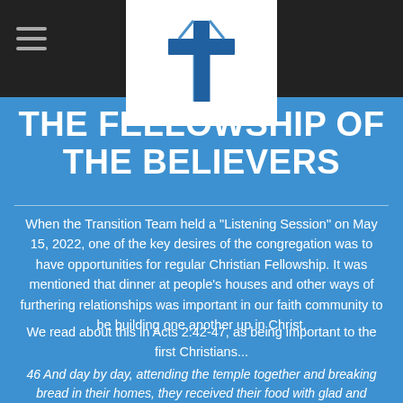[Figure (logo): Church cross logo in blue on white background, with hamburger menu icon to the left on dark nav bar]
THE FELLOWSHIP OF THE BELIEVERS
When the Transition Team held a "Listening Session" on May 15, 2022, one of the key desires of the congregation was to have opportunities for regular Christian Fellowship. It was mentioned that dinner at people's houses and other ways of furthering relationships was important in our faith community to be building one another up in Christ.
We read about this in Acts 2:42-47, as being important to the first Christians...
46 And day by day, attending the temple together and breaking bread in their homes, they received their food with glad and generous hearts 47 praising God and...